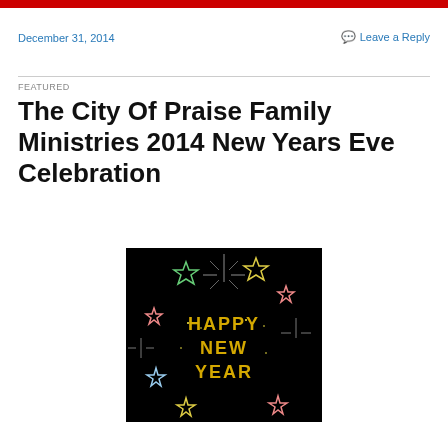December 31, 2014
Leave a Reply
FEATURED
The City Of Praise Family Ministries 2014 New Years Eve Celebration
[Figure (photo): Happy New Year image with colorful stars and sparkles on black background, text reads HAPPY NEW YEAR in gold letters]